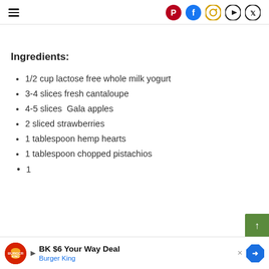Navigation menu with social icons: Pinterest, Facebook, Instagram, YouTube, Twitter
Ingredients:
1/2 cup lactose free whole milk yogurt
3-4 slices fresh cantaloupe
4-5 slices  Gala apples
2 sliced strawberries
1 tablespoon hemp hearts
1 tablespoon chopped pistachios
1 (partially visible)
BK $6 Your Way Deal – Burger King (advertisement)